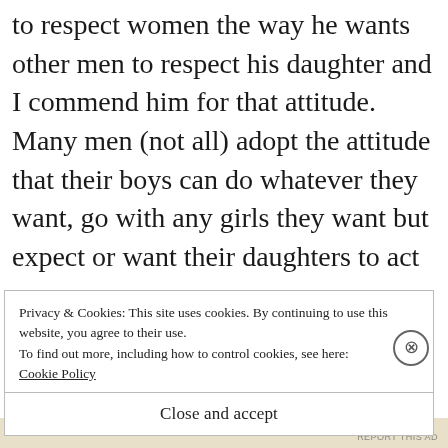to respect women the way he wants other men to respect his daughter and I commend him for that attitude. Many men (not all) adopt the attitude that their boys can do whatever they want, go with any girls they want but expect or want their daughters to act and be treated by a different set of standards. It's ok if their boys are sleeping with
Privacy & Cookies: This site uses cookies. By continuing to use this website, you agree to their use.
To find out more, including how to control cookies, see here:
Cookie Policy
Close and accept